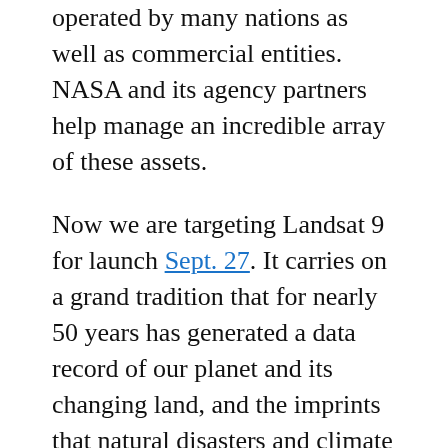operated by many nations as well as commercial entities. NASA and its agency partners help manage an incredible array of these assets.
Now we are targeting Landsat 9 for launch Sept. 27. It carries on a grand tradition that for nearly 50 years has generated a data record of our planet and its changing land, and the imprints that natural disasters and climate change have made visible from space. The world has never seen anything like the Landsat missions before. The continuity of measurements they have provided is an invaluable global asset free to all that helps us understand the very place we live – not just our continent or our nation, but our region and our